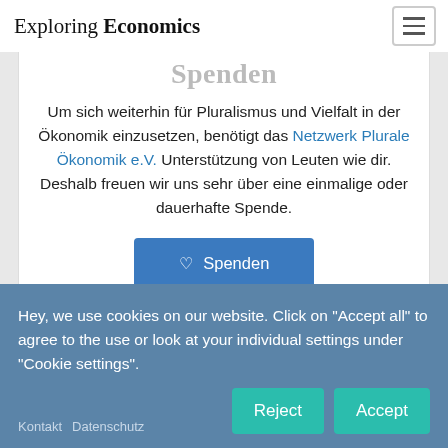Exploring Economics
Spenden
Um sich weiterhin für Pluralismus und Vielfalt in der Ökonomik einzusetzen, benötigt das Netzwerk Plurale Ökonomik e.V. Unterstützung von Leuten wie dir. Deshalb freuen wir uns sehr über eine einmalige oder dauerhafte Spende.
♡ Spenden
Hey, we use cookies on our website. Click on "Accept all" to agree to the use or look at your individual settings under "Cookie settings".
Kontakt  Datenschutz